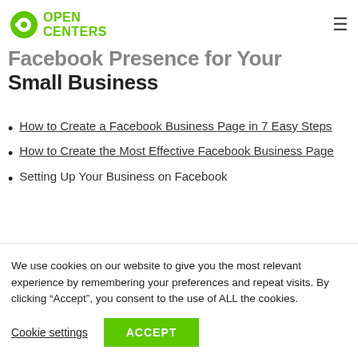[Figure (logo): Open Centers logo with green circular icon and green bold text 'OPEN CENTERS']
Facebook Presence for Your Small Business
How to Create a Facebook Business Page in 7 Easy Steps
How to Create the Most Effective Facebook Business Page
Setting Up Your Business on Facebook
We use cookies on our website to give you the most relevant experience by remembering your preferences and repeat visits. By clicking “Accept”, you consent to the use of ALL the cookies.
Cookie settings  ACCEPT